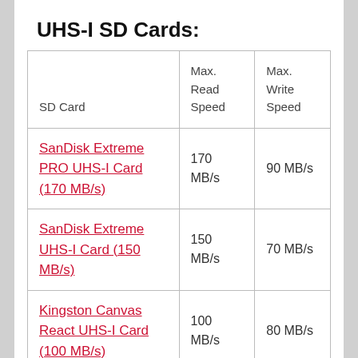UHS-I SD Cards:
| SD Card | Max. Read Speed | Max. Write Speed |
| --- | --- | --- |
| SanDisk Extreme PRO UHS-I Card (170 MB/s) | 170 MB/s | 90 MB/s |
| SanDisk Extreme UHS-I Card (150 MB/s) | 150 MB/s | 70 MB/s |
| Kingston Canvas React UHS-I Card (100 MB/s) | 100 MB/s | 80 MB/s |